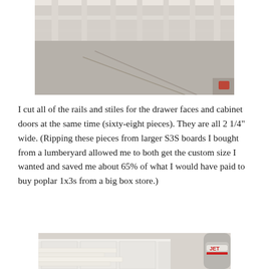[Figure (photo): Overhead/aerial view of a workshop floor with wood framing structures visible, light gray concrete floor.]
I cut all of the rails and stiles for the drawer faces and cabinet doors at the same time (sixty-eight pieces). They are all 2 1/4″ wide. (Ripping these pieces from larger S3S boards I bought from a lumberyard allowed me to both get the custom size I wanted and saved me about 65% of what I would have paid to buy poplar 1x3s from a big box store.)
[Figure (photo): Workshop photo showing many long white-painted poplar boards (rails and stiles) stacked on a table or bench, with a JET brand dust collector visible on the right and workshop equipment in the background.]